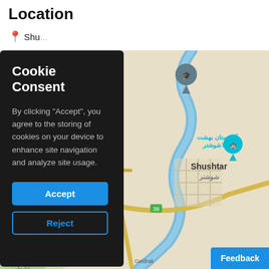Location
Shu...
[Figure (map): Map showing Shushtar / شوشتر region in Iran with a river, roads, and place name labels in both English and Persian. A school/education map pin is visible, along with a cemetery marker labeled آرامستان بهشت رضا شوشتر. Roads include yellow highways. Town name Shushtar and شوشتر shown prominently.]
Cookie Consent

By clicking "Accept", you agree to the storing of cookies on your device to enhance site navigation and analyze site usage.
Accept
Reject
Feedback